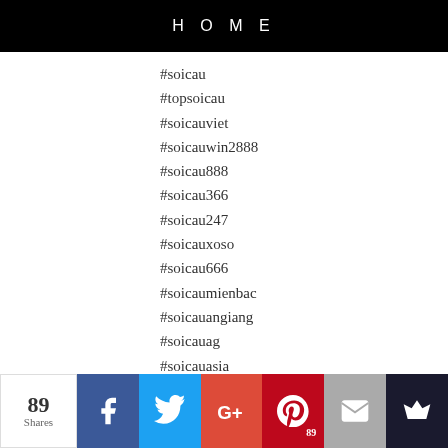HOME
#soicau
#topsoicau
#soicauviet
#soicauwin2888
#soicau888
#soicau366
#soicau247
#soicauxoso
#soicau666
#soicaumienbac
#soicauangiang
#soicauag
#soicauasia
#soicauatrungroi"
Reply
KUBET - Ku Casino - KuCasinoEmail June 3, 2020 at 5:57 PM